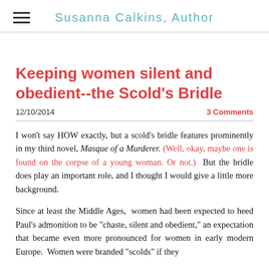Susanna Calkins, Author
Keeping women silent and obedient--the Scold's Bridle
12/10/2014
3 Comments
I won't say HOW exactly, but a scold's bridle features prominently in my third novel, Masque of a Murderer. (Well, okay, maybe one is found on the corpse of a young woman. Or not.)  But the bridle does play an important role, and I thought I would give a little more background.
Since at least the Middle Ages,  women had been expected to heed Paul's admonition to be "chaste, silent and obedient," an expectation that became even more pronounced for women in early modern Europe.  Women were branded "scolds" if they